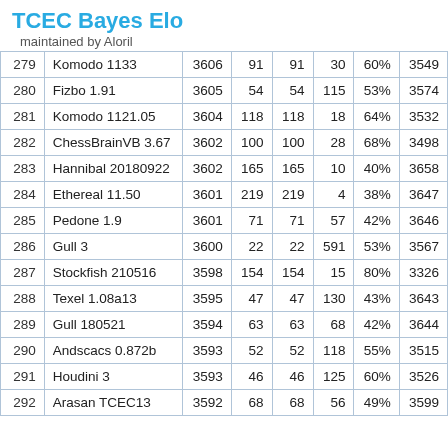TCEC Bayes Elo
maintained by Aloril
| # | Engine | Elo | + | - | Games | Score | Opp.Elo |
| --- | --- | --- | --- | --- | --- | --- | --- |
| 279 | Komodo 1133 | 3606 | 91 | 91 | 30 | 60% | 3549 |
| 280 | Fizbo 1.91 | 3605 | 54 | 54 | 115 | 53% | 3574 |
| 281 | Komodo 1121.05 | 3604 | 118 | 118 | 18 | 64% | 3532 |
| 282 | ChessBrainVB 3.67 | 3602 | 100 | 100 | 28 | 68% | 3498 |
| 283 | Hannibal 20180922 | 3602 | 165 | 165 | 10 | 40% | 3658 |
| 284 | Ethereal 11.50 | 3601 | 219 | 219 | 4 | 38% | 3647 |
| 285 | Pedone 1.9 | 3601 | 71 | 71 | 57 | 42% | 3646 |
| 286 | Gull 3 | 3600 | 22 | 22 | 591 | 53% | 3567 |
| 287 | Stockfish 210516 | 3598 | 154 | 154 | 15 | 80% | 3326 |
| 288 | Texel 1.08a13 | 3595 | 47 | 47 | 130 | 43% | 3643 |
| 289 | Gull 180521 | 3594 | 63 | 63 | 68 | 42% | 3644 |
| 290 | Andscacs 0.872b | 3593 | 52 | 52 | 118 | 55% | 3515 |
| 291 | Houdini 3 | 3593 | 46 | 46 | 125 | 60% | 3526 |
| 292 | Arasan TCEC13 | 3592 | 68 | 68 | 56 | 49% | 3599 |